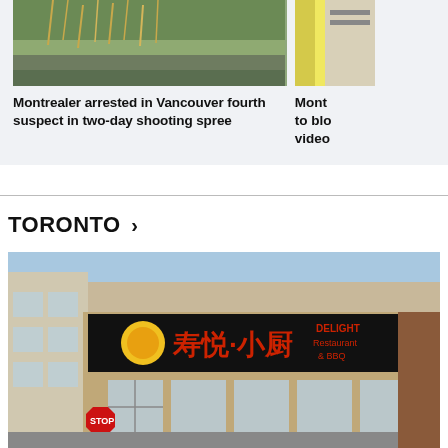[Figure (photo): Outdoor scene with tall dried grass and debris, top portion of news article card on left side]
[Figure (photo): Partial photo on right side showing yellow/industrial background, cropped]
Montrealer arrested in Vancouver fourth suspect in two-day shooting spree
Mont to blo video
TORONTO >
[Figure (photo): Exterior photo of a Chinese restaurant called Delight Restaurant & BBQ with Chinese characters on signage, brick building with stop sign visible]